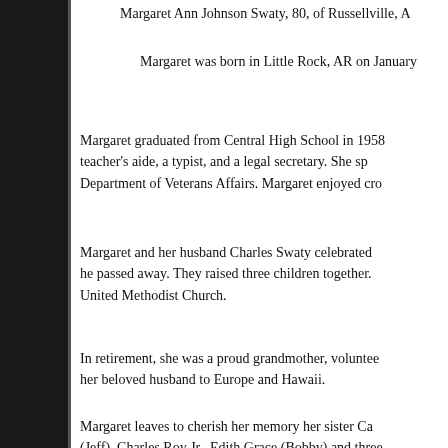Margaret Ann Johnson Swaty, 80, of Russellville, A...
Margaret was born in Little Rock, AR on January...
Margaret graduated from Central High School in 1958 teacher's aide, a typist, and a legal secretary. She sp... Department of Veterans Affairs. Margaret enjoyed cro...
Margaret and her husband Charles Swaty celebrated he passed away. They raised three children together. United Methodist Church.
In retirement, she was a proud grandmother, voluntee... her beloved husband to Europe and Hawaii.
Margaret leaves to cherish her memory her sister Ca... (Jeff), Charles Roy Jr., Edith Grace (Bobby) and three... and numerous nieces and nephews.